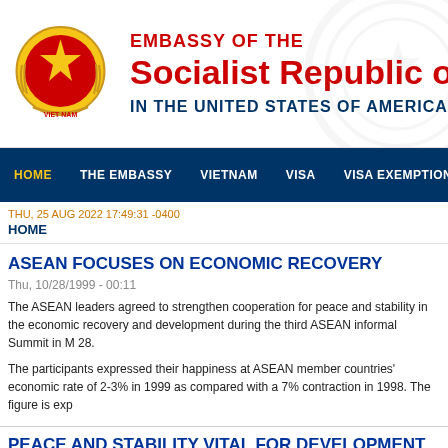[Figure (logo): Seal of the Socialist Republic of Vietnam — circular emblem with red star on gold background, surrounded by rice stalks]
EMBASSY OF THE
Socialist Republic of V
IN THE UNITED STATES OF AMERICA
HOME | THE EMBASSY | VIETNAM | VISA | VISA EXEMPTION | CONSULAR
THU, 25 AUG 2022 17:49:31 -0400
HOME
ASEAN FOCUSES ON ECONOMIC RECOVERY
Thu, 10/28/1999 - 00:11
The ASEAN leaders agreed to strengthen cooperation for peace and stability in the economic recovery and development during the third ASEAN informal Summit in M 28.
The participants expressed their happiness at ASEAN member countries' economic rate of 2-3% in 1999 as compared with a 7% contraction in 1998. The figure is exp
PEACE AND STABILITY VITAL FOR DEVELOPMENT